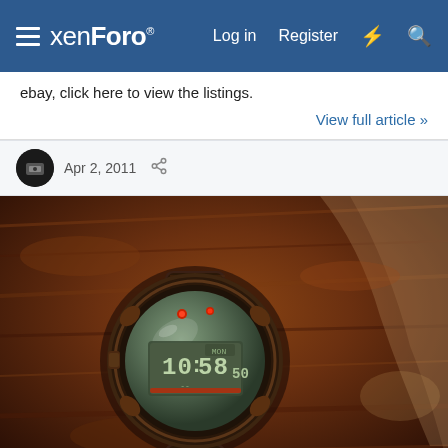xenForo | Log in | Register
ebay, click here to view the listings.
View full article »
Apr 2, 2011
[Figure (photo): A G-Shock digital watch showing time 10:58:50, resting on muddy reddish-brown dirt/wood surface with dramatic close-up photography]